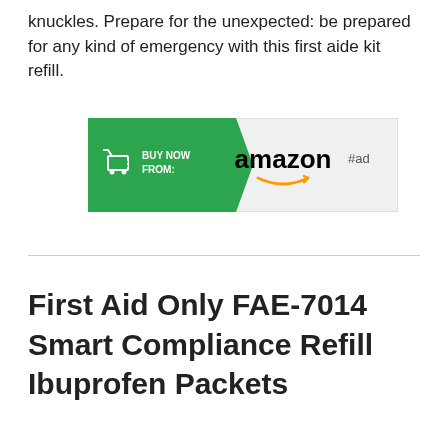knuckles. Prepare for the unexpected: be prepared for any kind of emergency with this first aide kit refill.
[Figure (other): Amazon Buy Now button banner with green arrow section showing a shopping cart icon and 'BUY NOW FROM:' text, followed by the Amazon logo with smile arrow. '#ad' label to the right.]
First Aid Only FAE-7014 Smart Compliance Refill Ibuprofen Packets